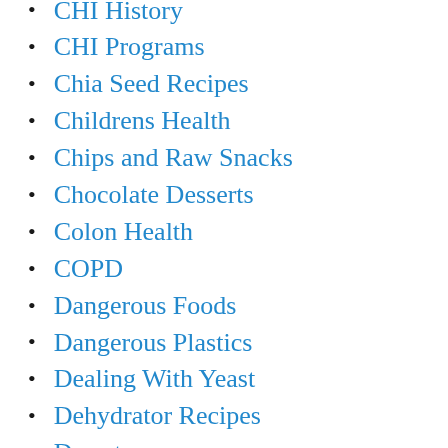CHI History
CHI Programs
Chia Seed Recipes
Childrens Health
Chips and Raw Snacks
Chocolate Desserts
Colon Health
COPD
Dangerous Foods
Dangerous Plastics
Dealing With Yeast
Dehydrator Recipes
Deserts
Desserts
Detox & Rebuild
Detox & Rebuild Education News
Diabetes Resources and Information